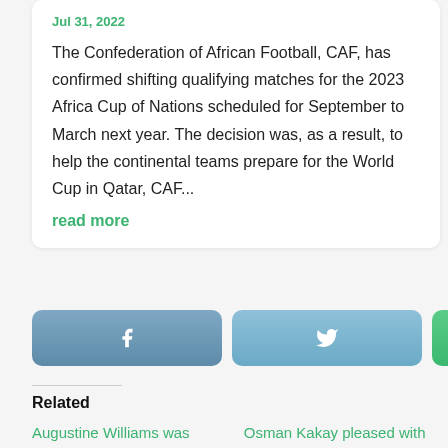Jul 31, 2022
The Confederation of African Football, CAF, has confirmed shifting qualifying matches for the 2023 Africa Cup of Nations scheduled for September to March next year. The decision was, as a result, to help the continental teams prepare for the World Cup in Qatar, CAF...
read more
[Figure (infographic): Three social share buttons: Facebook (blue-grey), Twitter (light blue), Email (green), and a scroll-to-top arrow button (grey)]
Related
Augustine Williams was pleased with 50th goal
Osman Kakay pleased with QPR's first win of the